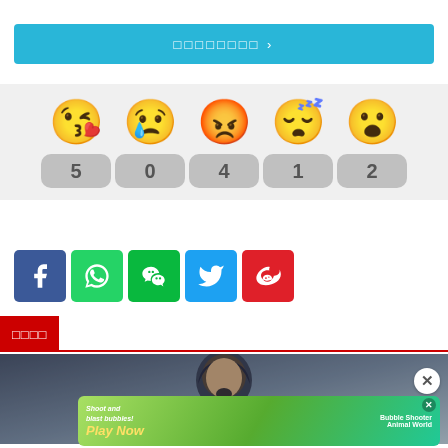[Figure (screenshot): Navigation bar with cyan/blue background and white text with right arrow]
[Figure (infographic): Emoji reaction row: kissing face (5), crying face (0), angry face (4), sleeping face (1), surprised face (2) with count badges below]
[Figure (infographic): Social share buttons: Facebook (blue), WhatsApp (green), WeChat (green), Twitter (blue), Weibo (red)]
相关新闻
[Figure (photo): Photo of a man with long dark hair and goatee against blurred background]
[Figure (infographic): Mobile game advertisement: 'Shoot and blast bubbles! Play Now - Bubble Shooter Animal World']